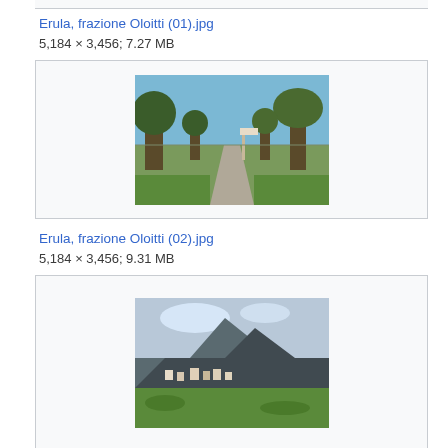Erula, frazione Oloitti (01).jpg
5,184 × 3,456; 7.27 MB
[Figure (photo): A rural road lined with trees and a signpost, under a blue sky, Erula frazione Oloitti (01)]
Erula, frazione Oloitti (02).jpg
5,184 × 3,456; 9.31 MB
[Figure (photo): A landscape view showing a hillside village with green fields and mountains in the background, Erula frazione Oloitti (02)]